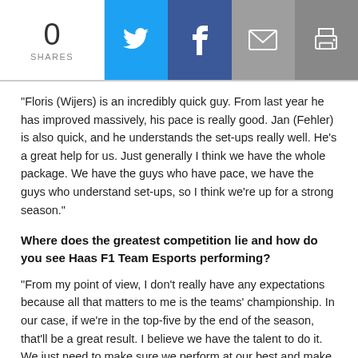0 SHARES | Twitter | Facebook | Email | Print
“Floris (Wijers) is an incredibly quick guy. From last year he has improved massively, his pace is really good. Jan (Fehler) is also quick, and he understands the set-ups really well. He’s a great help for us. Just generally I think we have the whole package. We have the guys who have pace, we have the guys who understand set-ups, so I think we’re up for a strong season.”
Where does the greatest competition lie and how do you see Haas F1 Team Esports performing?
“From my point of view, I don’t really have any expectations because all that matters to me is the teams’ championship. In our case, if we’re in the top-five by the end of the season, that’ll be a great result. I believe we have the talent to do it. We just need to make sure we perform at our best and make sure we get that top-five. I think Mercedes is incredibly strong, Brendon Leigh is a two-time champion.